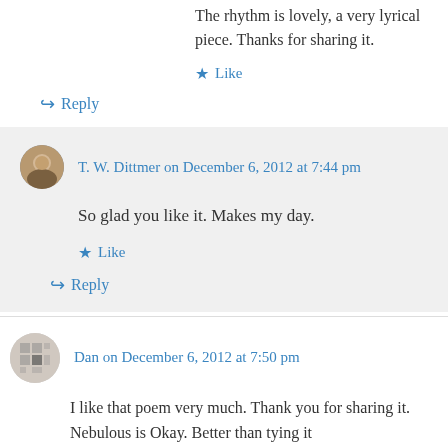The rhythm is lovely, a very lyrical piece. Thanks for sharing it.
★ Like
↳ Reply
T. W. Dittmer on December 6, 2012 at 7:44 pm
So glad you like it. Makes my day.
★ Like
↳ Reply
Dan on December 6, 2012 at 7:50 pm
I like that poem very much. Thank you for sharing it. Nebulous is Okay. Better than tying it